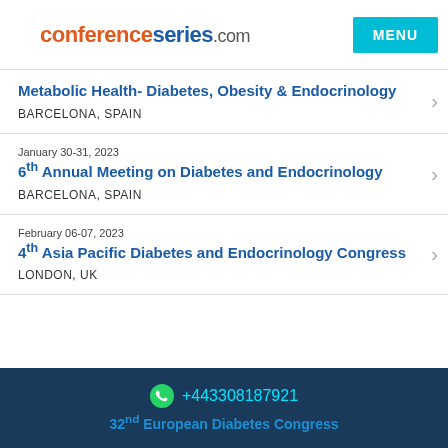conferenceseries.com
Metabolic Health- Diabetes, Obesity & Endocrinology | BARCELONA, SPAIN
January 30-31, 2023 | 6th Annual Meeting on Diabetes and Endocrinology | BARCELONA, SPAIN
February 06-07, 2023 | 4th Asia Pacific Diabetes and Endocrinology Congress | LONDON, UK
+443308187921 | 32nd European Diabetes Congress